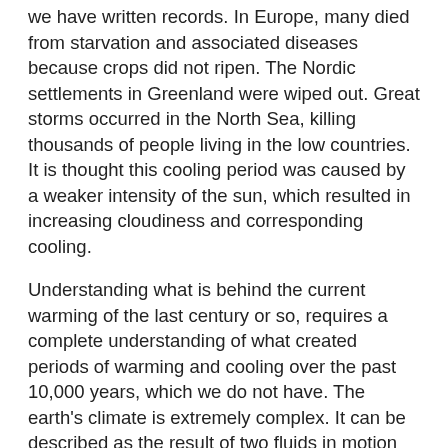we have written records. In Europe, many died from starvation and associated diseases because crops did not ripen. The Nordic settlements in Greenland were wiped out. Great storms occurred in the North Sea, killing thousands of people living in the low countries. It is thought this cooling period was caused by a weaker intensity of the sun, which resulted in increasing cloudiness and corresponding cooling.
Understanding what is behind the current warming of the last century or so, requires a complete understanding of what created periods of warming and cooling over the past 10,000 years, which we do not have. The earth's climate is extremely complex. It can be described as the result of two fluids in motion interacting with the land. The fluids move in response to the heat generated daily by the sun.
One of the fluids is the ocean, which transports heat on the surface from the tropics to the poles, where it escapes into the atmosphere and to space. A famous surface ocean flow is the Gulf Stream, which keeps Northern Europe much warmer than the corresponding latitudes of Canada. The other fluid is the atmosphere, which transports heat from the